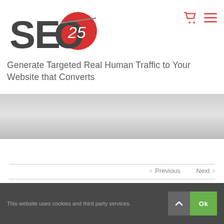[Figure (logo): SEO25 logo with large dark gray 'SEO' text and red circle containing '25' in white]
Generate Targeted Real Human Traffic to Your Website that Converts
[Figure (other): Gray gradient banner area]
< Previous   Next >
This website uses cookies and third party services.   Ok